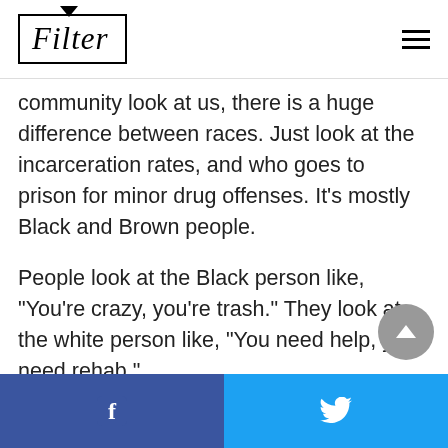Filter
community look at us, there is a huge difference between races. Just look at the incarceration rates, and who goes to prison for minor drug offenses. It's mostly Black and Brown people.
People look at the Black person like, “You’re crazy, you’re trash.” They look at the white person like, “You need help, you need rehab.”
Facebook share | Twitter share